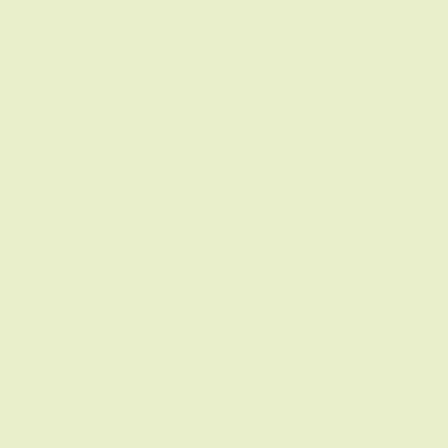Mickorod Renard: If u cud put it o
Stim Morane: This is great, I don't
Eliza Madrigal: =P~ Mick
Gaya Ethaniel: :)
Scathach Rhiadra: :)
Mickorod Renard: bye all Bye Stim
Stim Morane: Bye, Mick
Pila Mulligan: bye bye
Stim Morane: I'll stagger off mysel
Eliza Madrigal: Thank you very mu
Gaya Ethaniel: I will try out what y
Fefonz Quan: Bye Stim, thanks fo
Scathach Rhiadra: bye Stim, thank
Gaya Ethaniel: And report*
Eliza Madrigal: Gaya...one more w
Stim Morane: Thanks, Eliza and G
Gaya Ethaniel: One more week ...
Gaya Ethaniel: oh ok :)
Stim Morane: Yes, my retreat start
Gaya Ethaniel: kewl!
Eliza Madrigal: :)
Eliza Madrigal: Thanks everyone...